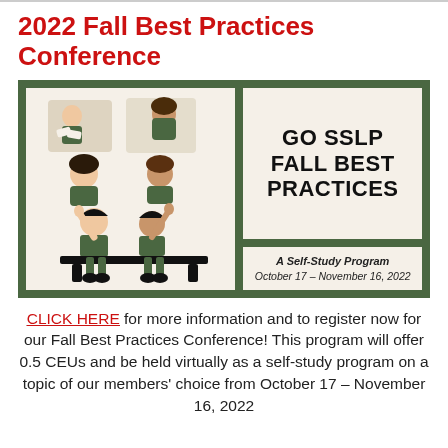2022 Fall Best Practices Conference
[Figure (illustration): Illustrated graphic with two panels on a dark green background. Left panel shows cartoon illustrations of school children at desks raising their hands and portrait-style illustrations of children. Right panel has two sections: top section with bold text 'GO SSLP FALL BEST PRACTICES', bottom section with italic text 'A Self-Study Program' and 'October 17 – November 16, 2022'.]
CLICK HERE for more information and to register now for our Fall Best Practices Conference! This program will offer 0.5 CEUs and be held virtually as a self-study program on a topic of our members' choice from October 17 – November 16, 2022.